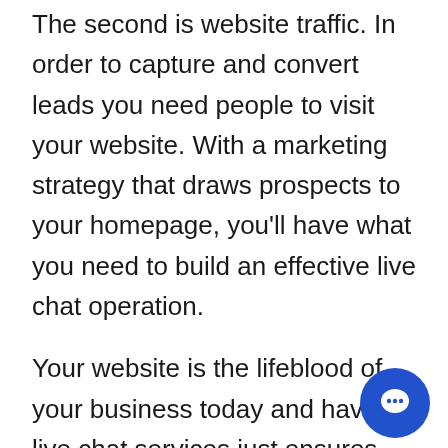The second is website traffic. In order to capture and convert leads you need people to visit your website. With a marketing strategy that draws prospects to your homepage, you'll have what you need to build an effective live chat operation.
Your website is the lifeblood of your business today and having live chat services just ensures you will get the most out of your presence in cyber-space. Return on investment is everything and live chat operators provide a return that is extraordinary. The cost of live chat operators is very negligible and in most cases pays for itself in the first sale. Do take chances, look into having live help on your site